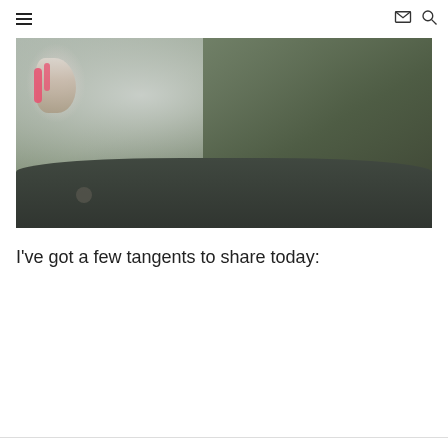≡ [menu icon] [mail icon] [search icon]
[Figure (photo): Close-up photo of a baby or infant being held, wearing grey and pink clothing, wrapped in dark blankets]
I've got a few tangents to share today: